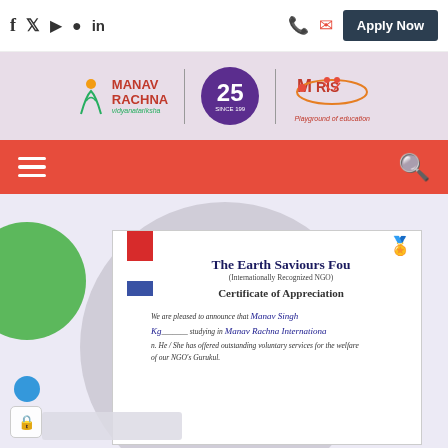Social icons: Facebook, Twitter, YouTube, Instagram, LinkedIn | Phone | Mail | Apply Now
[Figure (logo): Manav Rachna Vidyanatariksha logo with 25th anniversary badge and MRIS (Manav Rachna International School) logo - Playground of education]
Navigation bar with hamburger menu and search icon
[Figure (photo): Certificate of Appreciation from The Earth Saviours Foundation (Internationally Recognized NGO) awarded to Manav Singh studying in Manav Rachna International School (Kg), for outstanding voluntary services for the welfare of NGO's Gurukul. Background shows large grey circle, green decorative circle on left.]